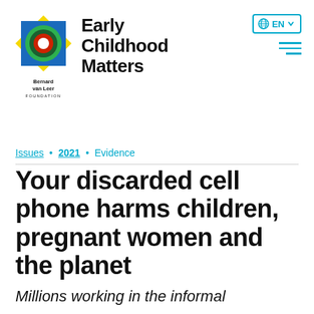[Figure (logo): Bernard van Leer Foundation logo with colorful overlapping squares and circle, alongside the text 'Early Childhood Matters']
[Figure (other): EN language selector button with globe icon and chevron, and hamburger menu icon, both in cyan/teal color]
Issues • 2021 • Evidence
Your discarded cell phone harms children, pregnant women and the planet
Millions working in the informal